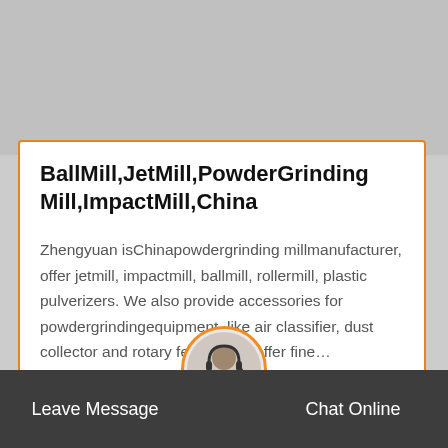[Figure (photo): Gray placeholder image area at top of page]
BallMill,JetMill,PowderGrinding Mill,ImpactMill,China
Zhengyuan isChinapowdergrinding millmanufacturer, offer jetmill, impactmill, ballmill, rollermill, plastic pulverizers. We also provide accessories for powdergrindingequipment, like air classifier, dust collector and rotary feeder. We offer fine…
Leave Message  Chat Online